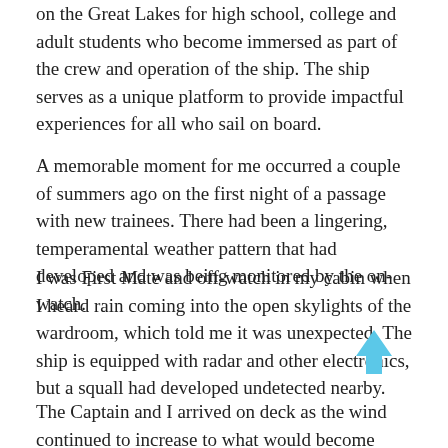on the Great Lakes for high school, college and adult students who become immersed as part of the crew and operation of the ship. The ship serves as a unique platform to provide impactful experiences for all who sail on board.
A memorable moment for me occurred a couple of summers ago on the first night of a passage with new trainees. There had been a lingering, temperamental weather pattern that had developed and was being monitored by the on-watch.
I was First Mate and off-watch in my cabin when I heard rain coming into the open skylights of the wardroom, which told me it was unexpected. The ship is equipped with radar and other electronics, but a squall had developed undetected nearby.
The Captain and I arrived on deck as the wind continued to increase to what would become about 40